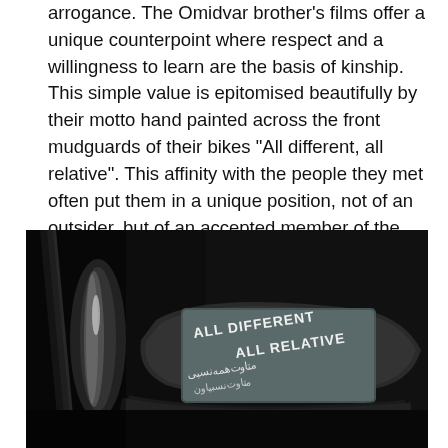arrogance. The Omidvar brother's films offer a unique counterpoint where respect and a willingness to learn are the basis of kinship. This simple value is epitomised beautifully by their motto hand painted across the front mudguards of their bikes "All different, all relative". This affinity with the people they met often put them in a unique position, not of an outsider, but of an accepted member of the tribe.
[Figure (photo): A close-up photograph of a motorcycle mudguard painted with the text 'ALL DIFFERENT ALL RELATIVE' in white lettering, with Arabic/Persian script below, against a dark background. A chrome handlebar element is visible on the left.]